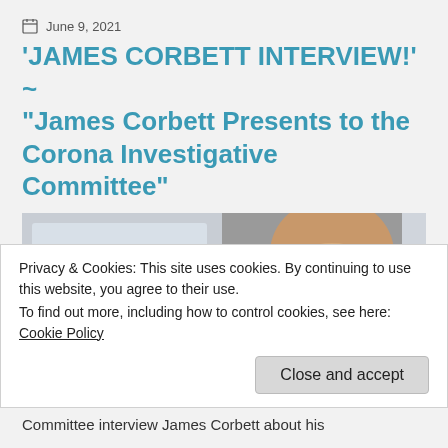June 9, 2021
'JAMES CORBETT INTERVIEW!' ~ "James Corbett Presents to the Corona Investigative Committee"
[Figure (photo): Thumbnail showing a bald man with glasses inside a car holding a sign reading 'BLOCKED ON YouTube']
Privacy & Cookies: This site uses cookies. By continuing to use this website, you agree to their use.
To find out more, including how to control cookies, see here: Cookie Policy
Close and accept
Committee interview James Corbett about his